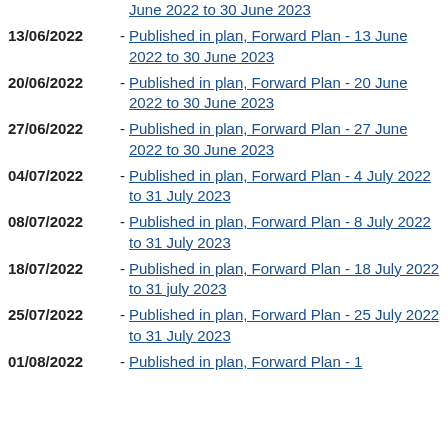June 2022 to 30 June 2023
13/06/2022 - Published in plan, Forward Plan - 13 June 2022 to 30 June 2023
20/06/2022 - Published in plan, Forward Plan - 20 June 2022 to 30 June 2023
27/06/2022 - Published in plan, Forward Plan - 27 June 2022 to 30 June 2023
04/07/2022 - Published in plan, Forward Plan - 4 July 2022 to 31 July 2023
08/07/2022 - Published in plan, Forward Plan - 8 July 2022 to 31 July 2023
18/07/2022 - Published in plan, Forward Plan - 18 July 2022 to 31 july 2023
25/07/2022 - Published in plan, Forward Plan - 25 July 2022 to 31 July 2023
01/08/2022 - Published in plan, Forward Plan - 1